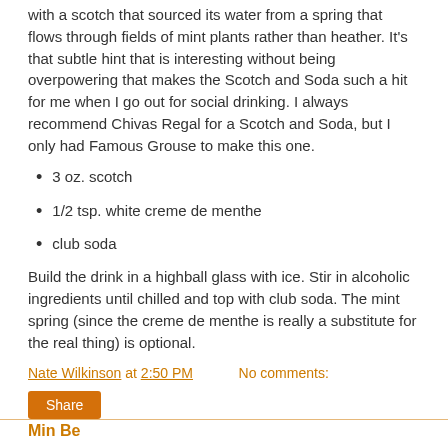with a scotch that sourced its water from a spring that flows through fields of mint plants rather than heather. It's that subtle hint that is interesting without being overpowering that makes the Scotch and Soda such a hit for me when I go out for social drinking. I always recommend Chivas Regal for a Scotch and Soda, but I only had Famous Grouse to make this one.
3 oz. scotch
1/2 tsp. white creme de menthe
club soda
Build the drink in a highball glass with ice. Stir in alcoholic ingredients until chilled and top with club soda. The mint spring (since the creme de menthe is really a substitute for the real thing) is optional.
Nate Wilkinson at 2:50 PM    No comments:
Share